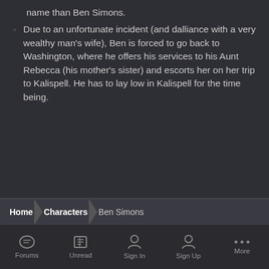name than Ben Simons.
Due to an unfortunate incident (and dalliance with a very wealthy man's wife), Ben is forced to go back to Washington, where he offers his services to his Aunt Rebecca (his mother's sister) and escorts her on her trip to Kalispell. He has to lay low in Kalispell for the time being.
Home > Characters > Ben Simons
IPS Theme by IPSFocus  Theme  Privacy Policy
© 2017 Sagas of the Wild West
Powered by Invision Community
Forums  Unread  Sign In  Sign Up  More